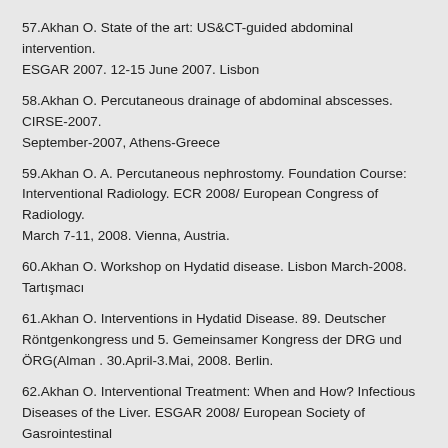57.Akhan O. State of the art: US&CT-guided abdominal intervention. ESGAR 2007. 12-15 June 2007. Lisbon
58.Akhan O. Percutaneous drainage of abdominal abscesses. CIRSE-2007. September-2007, Athens-Greece
59.Akhan O. A. Percutaneous nephrostomy. Foundation Course: Interventional Radiology. ECR 2008/ European Congress of Radiology. March 7-11, 2008. Vienna, Austria.
60.Akhan O. Workshop on Hydatid disease. Lisbon March-2008. Tartışmacı
61.Akhan O. Interventions in Hydatid Disease. 89. Deutscher Röntgenkongress und 5. Gemeinsamer Kongress der DRG und ÖRG(Alman . 30.April-3.Mai, 2008. Berlin.
62.Akhan O. Interventional Treatment: When and How? Infectious Diseases of the Liver. ESGAR 2008/ European Society of Gasrointestinal and Abdominal Radiology. June 10-13, 2008. Istanbul.
63.Akhan O. Complications in RF-Therapy. 5th International Congress on